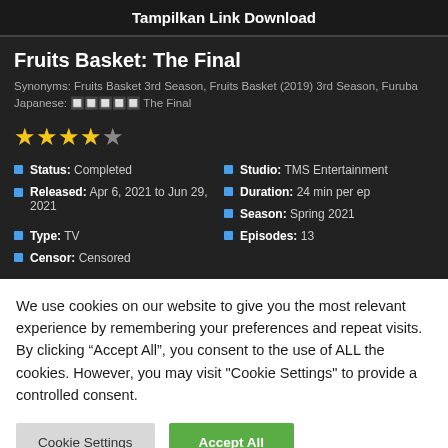Tampilkan Link Download
Fruits Basket: The Final
Synonyms: Fruits Basket 3rd Season, Fruits Basket (2019) 3rd Season, Furuba Japanese: 　　　　　 The Final
[Figure (other): 4 filled stars and 1 empty star rating]
Status: Completed
Studio: TMS Entertainment
Released: Apr 6, 2021 to Jun 29, 2021
Duration: 24 min per ep
Season: Spring 2021
Type: TV
Episodes: 13
Censor: Censored
We use cookies on our website to give you the most relevant experience by remembering your preferences and repeat visits. By clicking "Accept All", you consent to the use of ALL the cookies. However, you may visit "Cookie Settings" to provide a controlled consent.